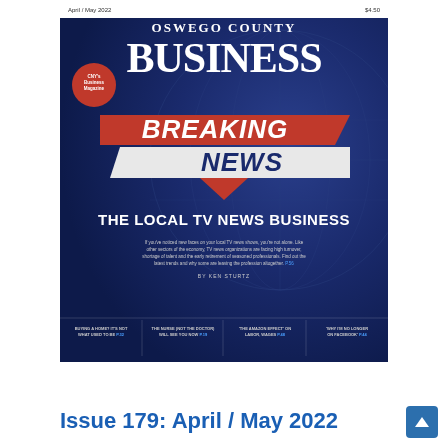[Figure (photo): Magazine cover of Oswego County Business, April/May 2022, Issue 179. Dark blue background with globe graphic. Shows 'BREAKING NEWS' in bold red/white banner design. Main headline: 'THE LOCAL TV NEWS BUSINESS'. Subtext about TV news organizations facing high turnover. Badge reading 'CNY's Business Magazine'. Bottom teasers for other articles.]
Issue 179: April / May 2022